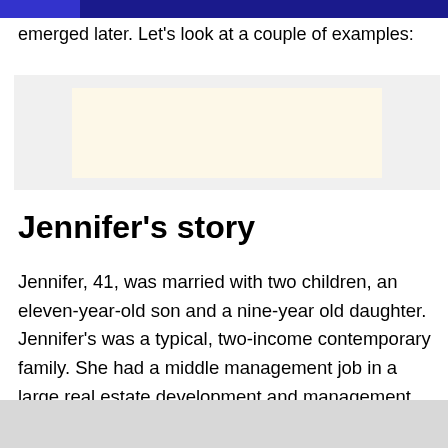emerged later. Let's look at a couple of examples:
[Figure (other): Placeholder image box with light beige/cream inner rectangle on a light gray background]
Jennifer's story
Jennifer, 41, was married with two children, an eleven-year-old son and a nine-year old daughter. Jennifer's was a typical, two-income contemporary family. She had a middle management job in a large real estate development and management